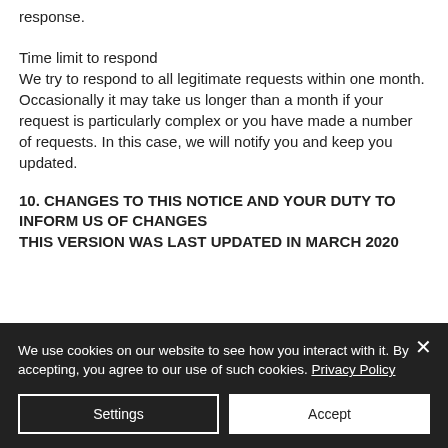response.
Time limit to respond
We try to respond to all legitimate requests within one month. Occasionally it may take us longer than a month if your request is particularly complex or you have made a number of requests. In this case, we will notify you and keep you updated.
10. CHANGES TO THIS NOTICE AND YOUR DUTY TO INFORM US OF CHANGES
THIS VERSION WAS LAST UPDATED IN MARCH 2020
We use cookies on our website to see how you interact with it. By accepting, you agree to our use of such cookies. Privacy Policy